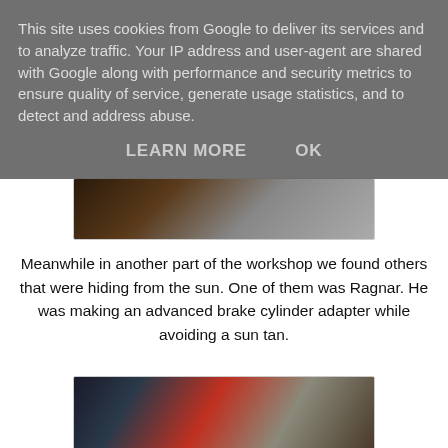This site uses cookies from Google to deliver its services and to analyze traffic. Your IP address and user-agent are shared with Google along with performance and security metrics to ensure quality of service, generate usage statistics, and to detect and address abuse.
LEARN MORE    OK
[Figure (photo): Partial view of a person working in a workshop, appears to be operating machinery or equipment]
Meanwhile in another part of the workshop we found others that were hiding from the sun. One of them was Ragnar. He was making an advanced brake cylinder adapter while avoiding a sun tan.
[Figure (photo): Person in a red shirt inside or next to a vehicle in a workshop garage setting]